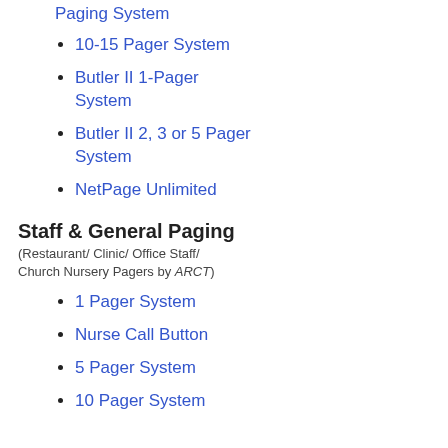countless other situations where there is… staff and more comfortable for guests:
Patient paging in hospitals and c…
Parent paging in church day care…
Guest paging at day spas.
Customer paging at auto repair c…
Guest paging at golf courses and…
Staff paging at factories and offic…
Student registration traffic contro…
LRS guest pagers are great for use in h… for such. Pagers help assure patient pri… called out in public as their turns come… allowing patients to wander or wait in th…
Automobile service is another great app… customers to wander nearby, up to 3/4 m…
Coaster pagers are perfect for handing… extremely tough, hard to ignore and jus… them home by accident. But please note… style pagers shown here-- you can also… or paddle style. (See the photos below.… please call for quotes on custom syste…
Paging System
10-15 Pager System
Butler II 1-Pager System
Butler II 2, 3 or 5 Pager System
NetPage Unlimited
Staff & General Paging
(Restaurant/ Clinic/ Office Staff/ Church Nursery Pagers by ARCT)
1 Pager System
Nurse Call Button
5 Pager System
10 Pager System